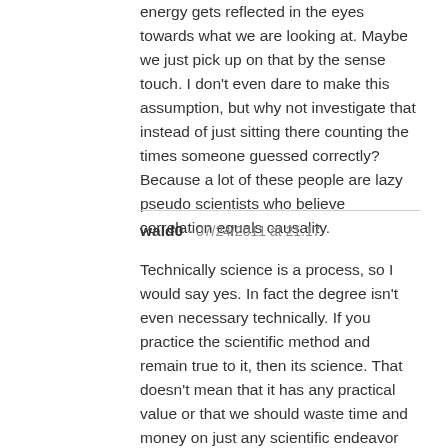energy gets reflected in the eyes towards what we are looking at. Maybe we just pick up on that by the sense touch. I don't even dare to make this assumption, but why not investigate that instead of just sitting there counting the times someone guessed correctly? Because a lot of these people are lazy pseudo scientists who believe correlation equals causality.
wald0 - 07/24/2011 at 21:17
Technically science is a process, so I would say yes. In fact the degree isn't even necessary technically. If you practice the scientific method and remain true to it, then its science. That doesn't mean that it has any practical value or that we should waste time and money on just any scientific endeavor though. If we have reason to believe something is happening, which means that